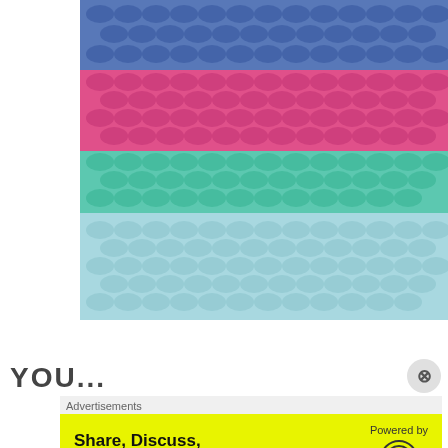[Figure (photo): Close-up photograph of colorful crochet fabric showing horizontal stripes in blue, pink/magenta, teal/mint green, and light blue yarn]
YOU...
Advertisements
[Figure (screenshot): Yellow advertisement banner reading 'Share, Discuss, Collaborate, P2.' with 'Powered by WordPress' logo on the right]